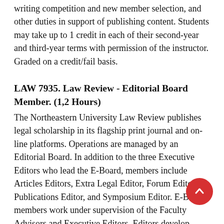writing competition and new member selection, and other duties in support of publishing content. Students may take up to 1 credit in each of their second-year and third-year terms with permission of the instructor. Graded on a credit/fail basis.
LAW 7935. Law Review - Editorial Board Member. (1,2 Hours)
The Northeastern University Law Review publishes legal scholarship in its flagship print journal and on-line platforms. Operations are managed by an Editorial Board. In addition to the three Executive Editors who lead the E-Board, members include Articles Editors, Extra Legal Editor, Forum Editor, Publications Editor, and Symposium Editor. E-Board members work under supervision of the Faculty Advisors and Executive Editors. Editors develop articles and content, facilitate